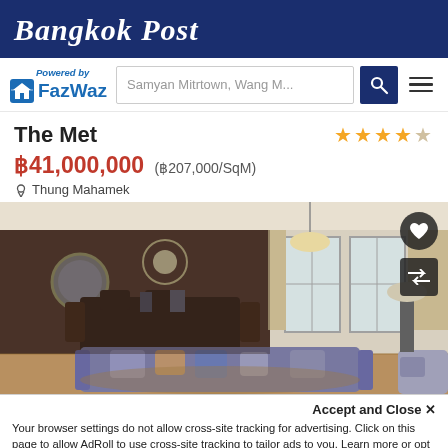Bangkok Post
[Figure (logo): FazWaz logo with 'Powered by' text above and house icon to the left of FazWaz brand name in blue]
Samyan Mitrtown, Wang M...
The Met
★★★★☆
฿41,000,000 (฿207,000/SqM)
Thung Mahamek
[Figure (photo): Interior photo of a luxury condominium living/dining room with sofas, decorative pillows, dining table, pendant lights, ornate mirror, and large windows with city view]
Accept and Close ✕
Your browser settings do not allow cross-site tracking for advertising. Click on this page to allow AdRoll to use cross-site tracking to tailor ads to you. Learn more or opt out of this AdRoll tracking by clicking here. This message only appears once.